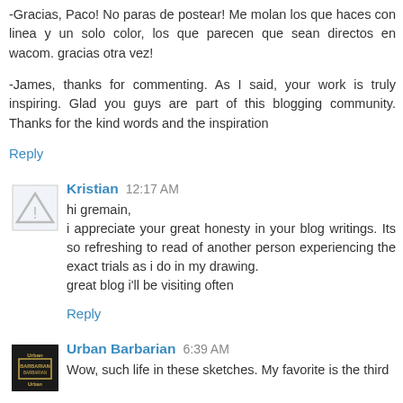-Gracias, Paco! No paras de postear! Me molan los que haces con linea y un solo color, los que parecen que sean directos en wacom. gracias otra vez!
-James, thanks for commenting. As I said, your work is truly inspiring. Glad you guys are part of this blogging community. Thanks for the kind words and the inspiration
Reply
Kristian  12:17 AM
hi gremain,
i appreciate your great honesty in your blog writings. Its so refreshing to read of another person experiencing the exact trials as i do in my drawing.
great blog i'll be visiting often
Reply
Urban Barbarian  6:39 AM
Wow, such life in these sketches. My favorite is the third